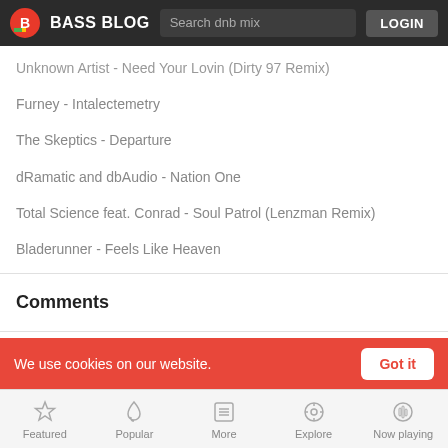BASS BLOG — Search dnb mix — LOGIN
Unknown Artist - Need Your Lovin (Dirty 97 Remix)
Furney - Intalectemetry
The Skeptics - Departure
dRamatic and dbAudio - Nation One
Total Science feat. Conrad - Soul Patrol (Lenzman Remix)
Bladerunner - Feels Like Heaven
Comments
Related
We use cookies on our website.
Got it
Featured | Popular | More | Explore | Now playing